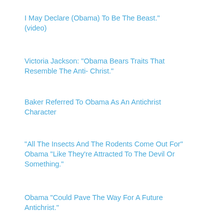I May Declare (Obama) To Be The Beast." (video)
Victoria Jackson: "Obama Bears Traits That Resemble The Anti- Christ."
Baker Referred To Obama As An Antichrist Character
"All The Insects And The Rodents Come Out For" Obama "Like They're Attracted To The Devil Or Something."
Obama "Could Pave The Way For A Future Antichrist."
"Many Have Asked: Is Obama The Anti-Christ?"
Note that I am not endorsing any of these authors. I personally feel that it is still entirely possible that President